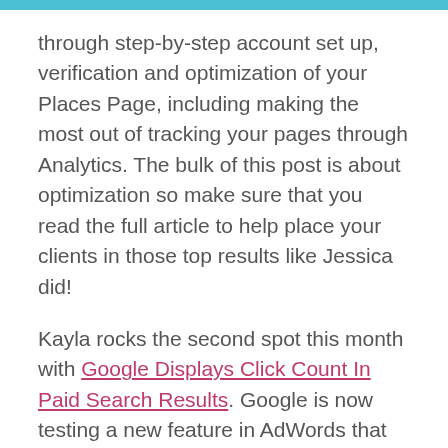through step-by-step account set up, verification and optimization of your Places Page, including making the most out of tracking your pages through Analytics.  The bulk of this post is about optimization so make sure that you read the full article to help place your clients in those top results like Jessica did!
Kayla rocks the second spot this month with Google Displays Click Count In Paid Search Results.  Google is now testing a new feature in AdWords that will display the click